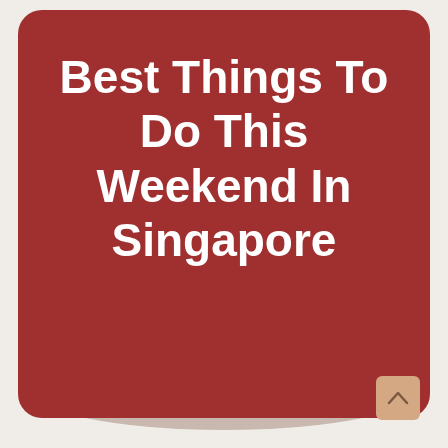[Figure (illustration): A dark red rounded card/tile design with white bold text reading 'Best Things To Do This Weekend In Singapore'. A scroll-to-top button (chevron up icon) appears in the lower right corner on a tan/beige background.]
Best Things To Do This Weekend In Singapore